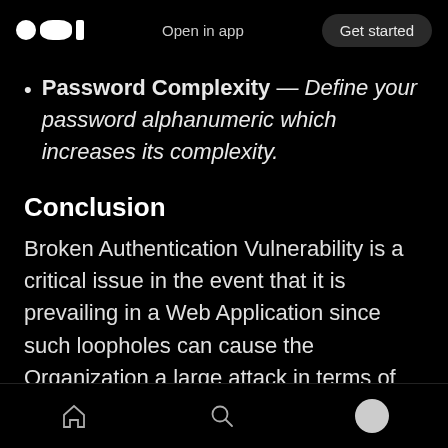Open in app  Get started
Password Complexity — Define your password alphanumeric which increases its complexity.
Conclusion
Broken Authentication Vulnerability is a critical issue in the event that it is prevailing in a Web Application since such loopholes can cause the Organization a large attack in terms of Data Breaches. Generally, it is simple for inspired attackers to sneak past on the grounds that even
Home  Search  Profile